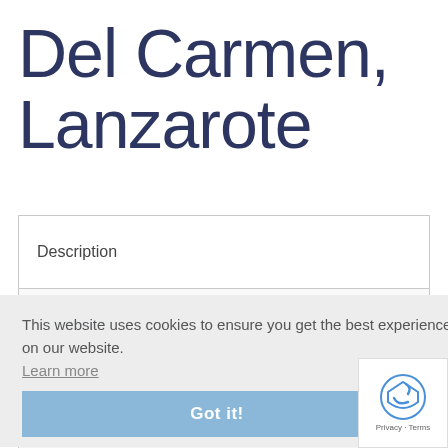Del Carmen, Lanzarote
Description
Availability
Gallery
This website uses cookies to ensure you get the best experience on our website.
Tariffs
Learn more
Enquire Now
Got it!
Send to Friend
Privacy · Terms